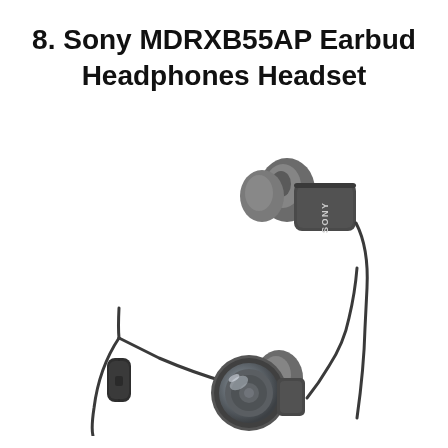8. Sony MDRXB55AP Earbud Headphones Headset
[Figure (photo): Product photo of Sony MDRXB55AP earbud headphones headset in black/dark gray color. Two earbuds are shown — one upper right showing the earbud tip and 'SONY' branding on the housing, and one lower left showing the metallic circular driver housing. A thin cable runs between them with a small inline microphone/remote control module visible on the left cable.]